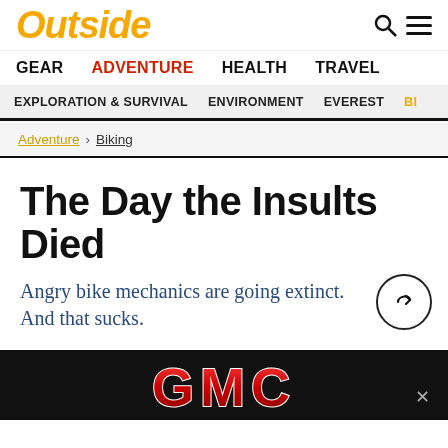Outside
GEAR  ADVENTURE  HEALTH  TRAVEL
EXPLORATION & SURVIVAL  ENVIRONMENT  EVEREST  BI...
Adventure > Biking
The Day the Insults Died
Angry bike mechanics are going extinct. And that sucks.
[Figure (logo): GMC advertisement banner with red metallic GMC logo on black background]